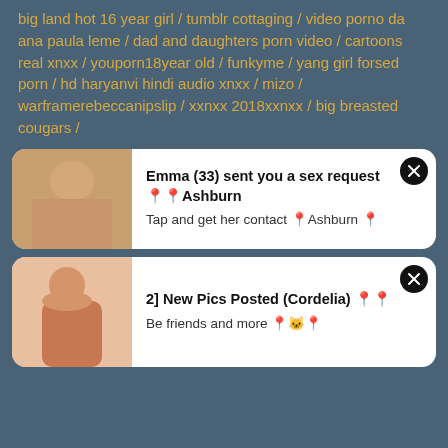big land hot 16 year girl / tumblr cottaging / video porno da ana paula leme / dad and daughters porn video / cartoons real xnxx / youporn18year old / funkyme / yang girl forsed porn / hd haryanvi hindi audio xnxx / mizo / warframerebeccanipslip / xxnxx 2018xxnxx / big breasted cougars /
[Figure (photo): Notification card with thumbnail image on left and text: Emma (33) sent you a sex request Ashburn. Tap and get her contact Ashburn. Close button top right.]
[Figure (photo): Notification card with thumbnail image on left and text: 2] New Pics Posted (Cordelia). Be friends and more. Close button top right.]